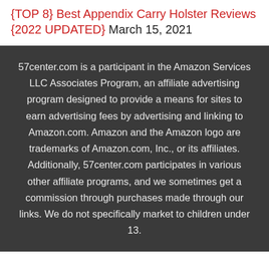{TOP 8} Best Appendix Carry Holster Reviews {2022 UPDATED} March 15, 2021
57center.com is a participant in the Amazon Services LLC Associates Program, an affiliate advertising program designed to provide a means for sites to earn advertising fees by advertising and linking to Amazon.com. Amazon and the Amazon logo are trademarks of Amazon.com, Inc., or its affiliates. Additionally, 57center.com participates in various other affiliate programs, and we sometimes get a commission through purchases made through our links. We do not specifically market to children under 13.